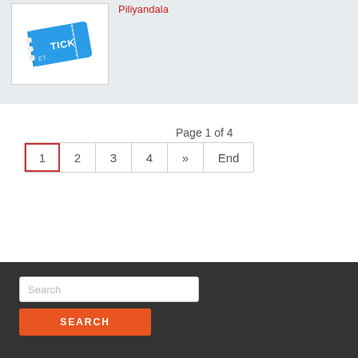[Figure (illustration): Blue ticket icon with white bold text 'TICKET' on it, shown at an angle, inside a white bordered box on a light grey background.]
Piliyandala
Page 1 of 4
1  2  3  4  »  End
Search
SEARCH